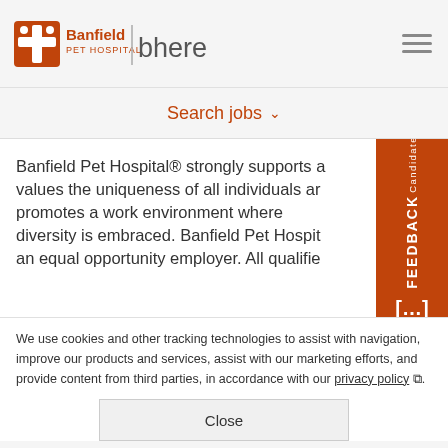[Figure (logo): Banfield Pet Hospital logo with orange paw/cross icon and bhere wordmark]
Search jobs ∨
Banfield Pet Hospital® strongly supports and values the uniqueness of all individuals and promotes a work environment where diversity is embraced. Banfield Pet Hospital is an equal opportunity employer. All qualifie...
We use cookies and other tracking technologies to assist with navigation, improve our products and services, assist with our marketing efforts, and provide content from third parties, in accordance with our privacy policy.
Close